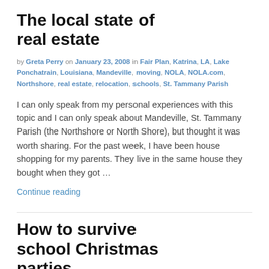The local state of real estate
by Greta Perry on January 23, 2008 in Fair Plan, Katrina, LA, Lake Ponchatrain, Louisiana, Mandeville, moving, NOLA, NOLA.com, Northshore, real estate, relocation, schools, St. Tammany Parish
I can only speak from my personal experiences with this topic and I can only speak about Mandeville, St. Tammany Parish (the Northshore or North Shore), but thought it was worth sharing. For the past week, I have been house shopping for my parents. They live in the same house they bought when they got …
Continue reading
How to survive school Christmas parties